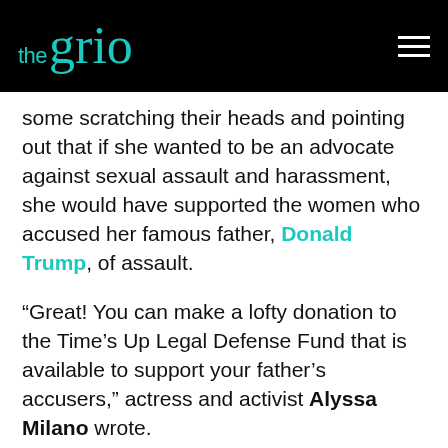the grio [hamburger menu icon]
some scratching their heads and pointing out that if she wanted to be an advocate against sexual assault and harassment, she would have supported the women who accused her famous father, Donald Trump, of assault.
“Great! You can make a lofty donation to the Time’s Up Legal Defense Fund that is available to support your father’s accusers,” actress and activist Alyssa Milano wrote.